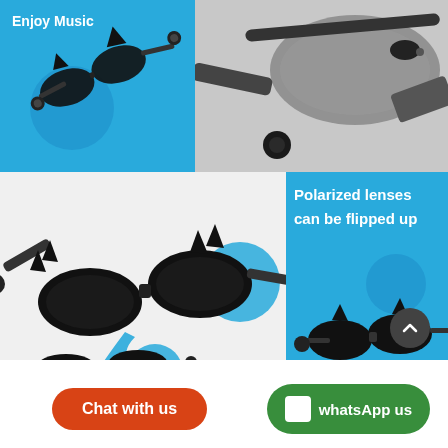[Figure (photo): Blue promotional panel with 'Enjoy Music' text and Bluetooth sunglasses product image with earbuds]
[Figure (photo): Close-up photo of gray/black Bluetooth sunglasses with earbuds on white background]
[Figure (photo): White background showing foldable Bluetooth sunglasses being opened, with decorative blue circles and 'foldable' label]
[Figure (photo): Blue panel with 'Polarized lenses can be flipped up' text and Bluetooth sunglasses product image]
[Figure (other): Dark circular scroll-to-top button with upward chevron arrow]
Chat with us
whatsApp us